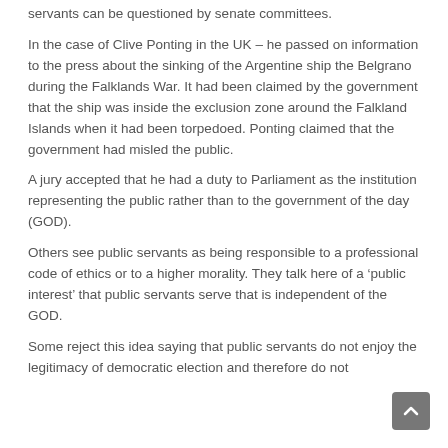servants can be questioned by senate committees.
In the case of Clive Ponting in the UK – he passed on information to the press about the sinking of the Argentine ship the Belgrano during the Falklands War. It had been claimed by the government that the ship was inside the exclusion zone around the Falkland Islands when it had been torpedoed. Ponting claimed that the government had misled the public.
A jury accepted that he had a duty to Parliament as the institution representing the public rather than to the government of the day (GOD).
Others see public servants as being responsible to a professional code of ethics or to a higher morality. They talk here of a ‘public interest’ that public servants serve that is independent of the GOD.
Some reject this idea saying that public servants do not enjoy the legitimacy of democratic election and therefore do not